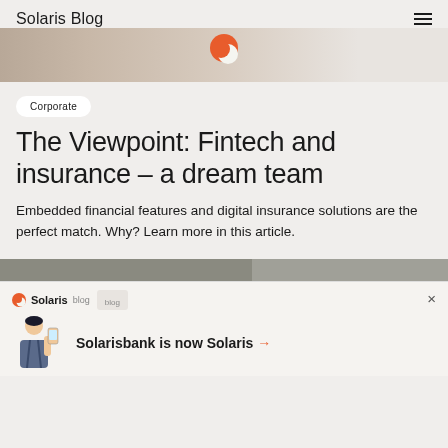Solaris Blog
[Figure (photo): Partial hero image strip showing illustrated characters and Solaris logo]
Corporate
The Viewpoint: Fintech and insurance – a dream team
Embedded financial features and digital insurance solutions are the perfect match. Why? Learn more in this article.
[Figure (screenshot): Solarisbank is now Solaris notification banner with illustrated person holding phone]
Solarisbank is now Solaris →